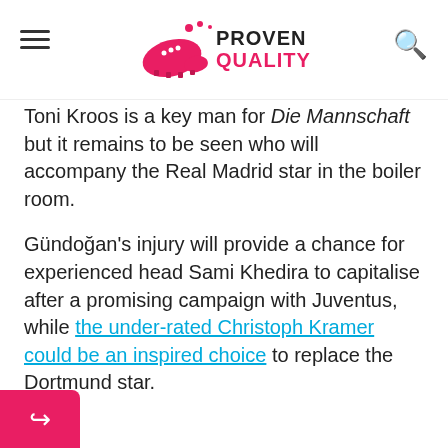Proven Quality — website header with logo, hamburger menu, and search icon
Toni Kroos is a key man for Die Mannschaft but it remains to be seen who will accompany the Real Madrid star in the boiler room.
Gündoğan's injury will provide a chance for experienced head Sami Khedira to capitalise after a promising campaign with Juventus, while the under-rated Christoph Kramer could be an inspired choice to replace the Dortmund star.